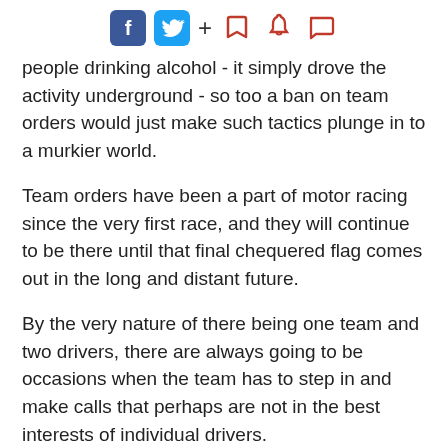Social media share icons: Facebook, Twitter, plus sign, bookmark, bell, comment
people drinking alcohol - it simply drove the activity underground - so too a ban on team orders would just make such tactics plunge in to a murkier world.
Team orders have been a part of motor racing since the very first race, and they will continue to be there until that final chequered flag comes out in the long and distant future.
By the very nature of there being one team and two drivers, there are always going to be occasions when the team has to step in and make calls that perhaps are not in the best interests of individual drivers.
[Figure (other): Grey advertisement placeholder box]